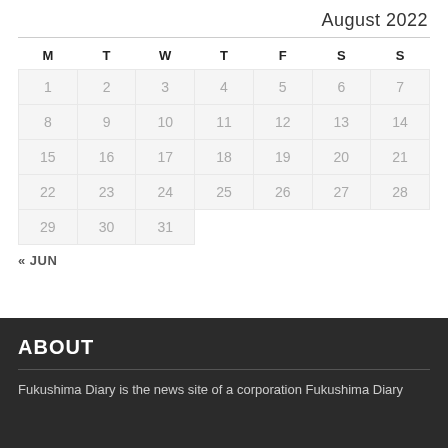August 2022
| M | T | W | T | F | S | S |
| --- | --- | --- | --- | --- | --- | --- |
| 1 | 2 | 3 | 4 | 5 | 6 | 7 |
| 8 | 9 | 10 | 11 | 12 | 13 | 14 |
| 15 | 16 | 17 | 18 | 19 | 20 | 21 |
| 22 | 23 | 24 | 25 | 26 | 27 | 28 |
| 29 | 30 | 31 |  |  |  |  |
« JUN
ABOUT
Fukushima Diary is the news site of a corporation Fukushima Diary